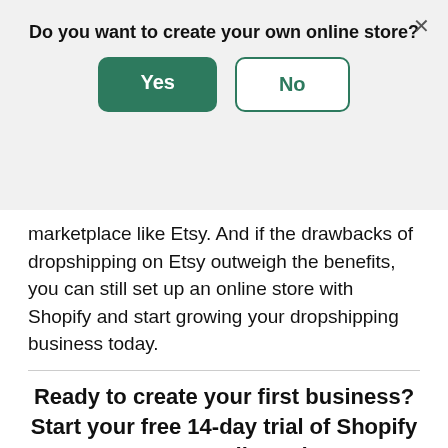Do you want to create your own online store?
[Figure (screenshot): Modal dialog with Yes (green filled button) and No (green outline button) options, and an X close button in the top right]
marketplace like Etsy. And if the drawbacks of dropshipping on Etsy outweigh the benefits, you can still set up an online store with Shopify and start growing your dropshipping business today.
Ready to create your first business? Start your free 14-day trial of Shopify—no credit card